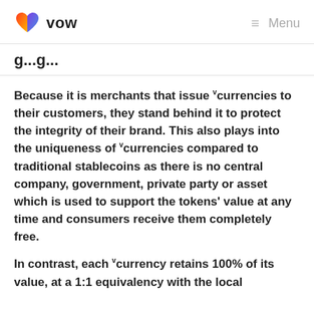VOW | Menu
g...g...
Because it is merchants that issue vcurrencies to their customers, they stand behind it to protect the integrity of their brand. This also plays into the uniqueness of vcurrencies compared to traditional stablecoins as there is no central company, government, private party or asset which is used to support the tokens' value at any time and consumers receive them completely free.
In contrast, each vcurrency retains 100% of its value, at a 1:1 equivalency with the local